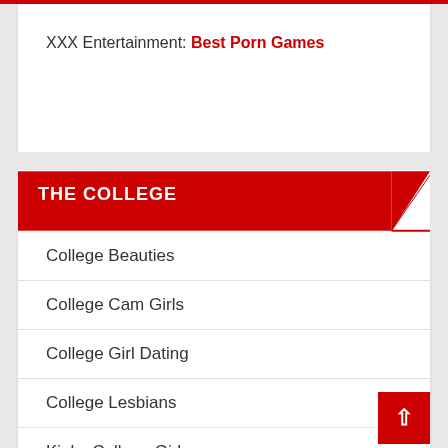XXX Entertainment: Best Porn Games
THE COLLEGE
College Beauties
College Cam Girls
College Girl Dating
College Lesbians
Kinky College Girls